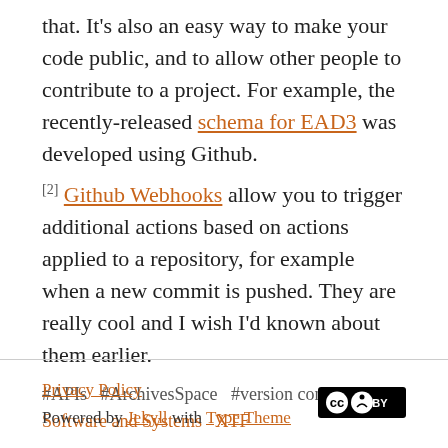that. It's also an easy way to make your code public, and to allow other people to contribute to a project. For example, the recently-released schema for EAD3 was developed using Github.
[2] Github Webhooks allow you to trigger additional actions based on actions applied to a repository, for example when a new commit is pushed. They are really cool and I wish I'd known about them earlier.
#APIs  #ArchivesSpace  #version control  Software and Systems  XTF
Privacy Policy | Powered by Jekyll with Type Theme